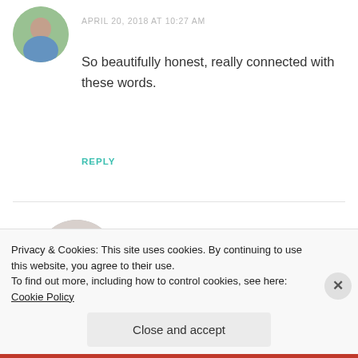[Figure (photo): Circular avatar photo of a person outdoors, partially cropped]
APRIL 20, 2018 AT 10:27 AM
So beautifully honest, really connected with these words.
REPLY
[Figure (photo): Circular avatar photo of a woman with dark hair smiling]
TrailblazingWithCP
APRIL 20, 2018 AT 11:00 AM
Privacy & Cookies: This site uses cookies. By continuing to use this website, you agree to their use.
To find out more, including how to control cookies, see here: Cookie Policy
Close and accept